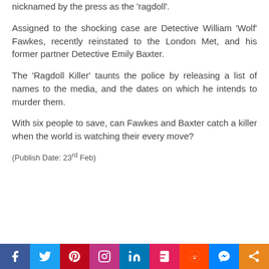nicknamed by the press as the ‘ragdoll’.
Assigned to the shocking case are Detective William ‘Wolf’ Fawkes, recently reinstated to the London Met, and his former partner Detective Emily Baxter.
The ‘Ragdoll Killer’ taunts the police by releasing a list of names to the media, and the dates on which he intends to murder them.
With six people to save, can Fawkes and Baxter catch a killer when the world is watching their every move?
(Publish Date: 23rd Feb)